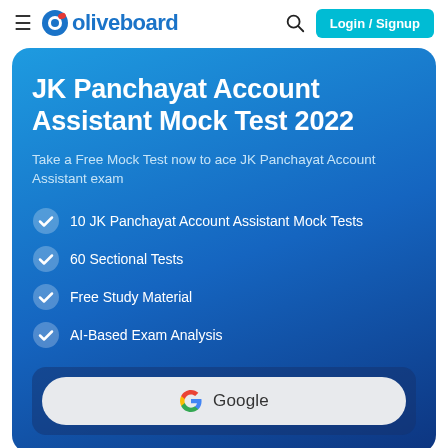= oliveboard  Login / Signup
JK Panchayat Account Assistant Mock Test 2022
Take a Free Mock Test now to ace JK Panchayat Account Assistant exam
10 JK Panchayat Account Assistant Mock Tests
60 Sectional Tests
Free Study Material
AI-Based Exam Analysis
[Figure (logo): Google sign-in button with Google logo and text 'Google']